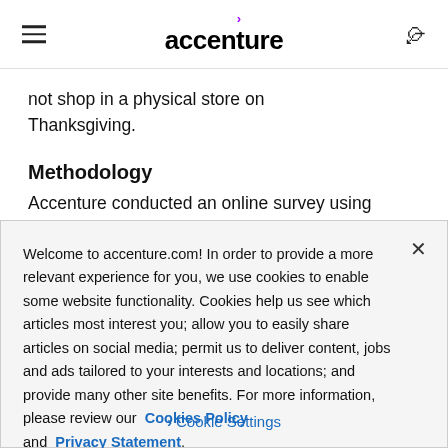accenture
not shop in a physical store on Thanksgiving.
Methodology
Accenture conducted an online survey using
Welcome to accenture.com! In order to provide a more relevant experience for you, we use cookies to enable some website functionality. Cookies help us see which articles most interest you; allow you to easily share articles on social media; permit us to deliver content, jobs and ads tailored to your interests and locations; and provide many other site benefits. For more information, please review our Cookies Policy and Privacy Statement.
Cookie Settings